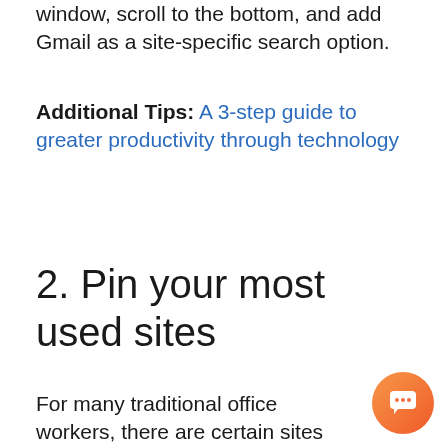window, scroll to the bottom, and add Gmail as a site-specific search option.
Additional Tips: A 3-step guide to greater productivity through technology
2. Pin your most used sites
For many traditional office workers, there are certain sites